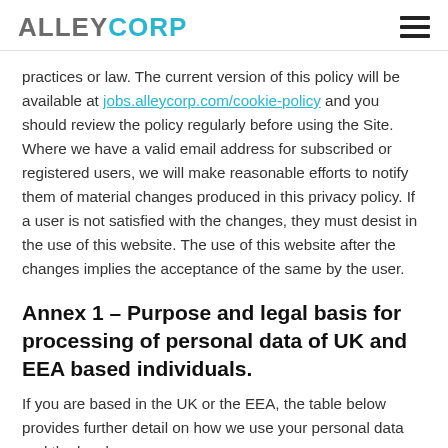ALLEYCORP
practices or law. The current version of this policy will be available at jobs.alleycorp.com/cookie-policy and you should review the policy regularly before using the Site. Where we have a valid email address for subscribed or registered users, we will make reasonable efforts to notify them of material changes produced in this privacy policy. If a user is not satisfied with the changes, they must desist in the use of this website. The use of this website after the changes implies the acceptance of the same by the user.
Annex 1 – Purpose and legal basis for processing of personal data of UK and EEA based individuals.
If you are based in the UK or the EEA, the table below provides further detail on how we use your personal data and the legal